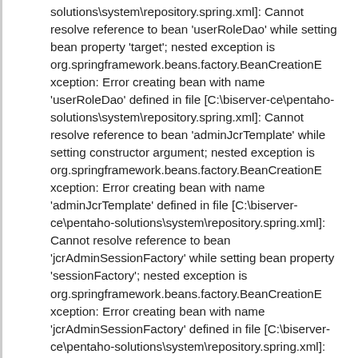solutions\system\repository.spring.xml]: Cannot resolve reference to bean 'userRoleDao' while setting bean property 'target'; nested exception is org.springframework.beans.factory.BeanCreationException: Error creating bean with name 'userRoleDao' defined in file [C:\biserver-ce\pentaho-solutions\system\repository.spring.xml]: Cannot resolve reference to bean 'adminJcrTemplate' while setting constructor argument; nested exception is org.springframework.beans.factory.BeanCreationException: Error creating bean with name 'adminJcrTemplate' defined in file [C:\biserver-ce\pentaho-solutions\system\repository.spring.xml]: Cannot resolve reference to bean 'jcrAdminSessionFactory' while setting bean property 'sessionFactory'; nested exception is org.springframework.beans.factory.BeanCreationException: Error creating bean with name 'jcrAdminSessionFactory' defined in file [C:\biserver-ce\pentaho-solutions\system\repository.spring.xml]: Cannot resolve reference to bean 'jcrRepository' while setting constructor argument; nested exception is org.springframework.beans.factory.BeanCreationE